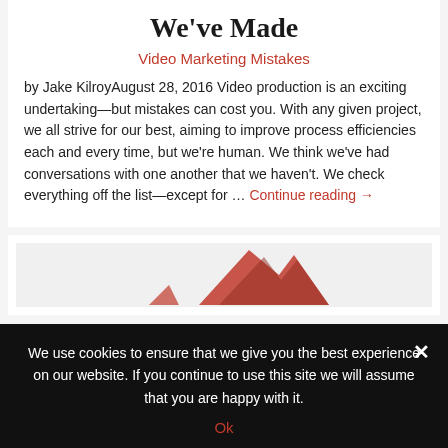We've Made
Video Marketing Mistakes
by Jake KilroyAugust 28, 2016 Video production is an exciting undertaking—but mistakes can cost you. With any given project, we all strive for our best, aiming to improve process efficiencies each and every time, but we're human. We think we've had conversations with one another that we haven't. We check everything off the list—except for … Continue reading →
[Figure (illustration): Partial view of an illustration with a red/dark triangular shape on a light background]
We use cookies to ensure that we give you the best experience on our website. If you continue to use this site we will assume that you are happy with it. Ok